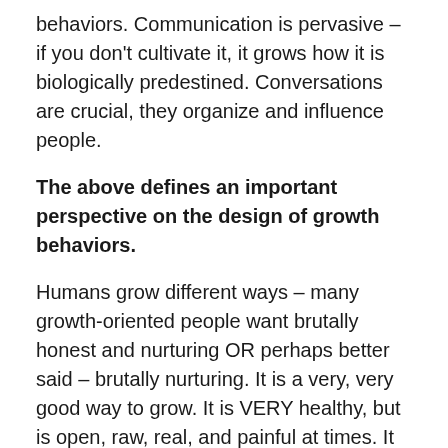behaviors. Communication is pervasive – if you don't cultivate it, it grows how it is biologically predestined. Conversations are crucial, they organize and influence people.
The above defines an important perspective on the design of growth behaviors.
Humans grow different ways – many growth-oriented people want brutally honest and nurturing OR perhaps better said – brutally nurturing. It is a very, very good way to grow. It is VERY healthy, but is open, raw, real, and painful at times. It is what high performance athletes want. It is being a better version of you each day. Yet, it is invigorating. It is inspiring. It is what humanity wants in their life today. It also requires commitment, discipline, and determination. Drive matters. Focus matters. commitment